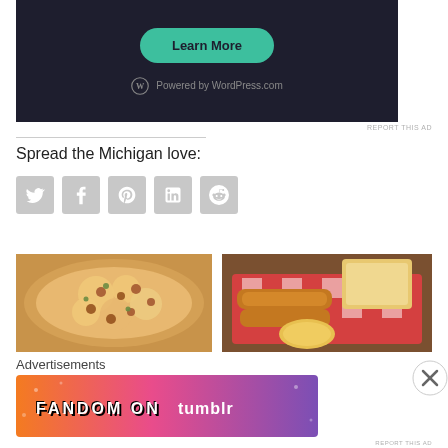[Figure (screenshot): Dark-background WordPress.com advertisement with a teal 'Learn More' rounded button and 'Powered by WordPress.com' text with logo]
REPORT THIS AD
Spread the Michigan love:
[Figure (illustration): Row of five social media share buttons: Twitter, Facebook, Pinterest, LinkedIn, Reddit — all grey square icons]
[Figure (photo): Close-up photo of a topped pizza]
[Figure (photo): Photo of a basket of fried food with dipping sauce and toast]
Advertisements
[Figure (screenshot): Fandom on Tumblr advertisement banner with colorful gradient background]
REPORT THIS AD